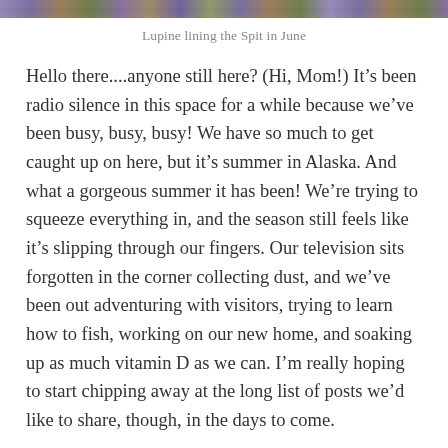[Figure (photo): Top edge of a photo showing lupine flowers lining the Spit in June — blurry purple and green floral scene]
Lupine lining the Spit in June
Hello there....anyone still here? (Hi, Mom!) It’s been radio silence in this space for a while because we’ve been busy, busy, busy! We have so much to get caught up on here, but it’s summer in Alaska. And what a gorgeous summer it has been! We’re trying to squeeze everything in, and the season still feels like it’s slipping through our fingers. Our television sits forgotten in the corner collecting dust, and we’ve been out adventuring with visitors, trying to learn how to fish, working on our new home, and soaking up as much vitamin D as we can. I’m really hoping to start chipping away at the long list of posts we’d like to share, though, in the days to come.
Posted in Alaska, Life at the End of the Road